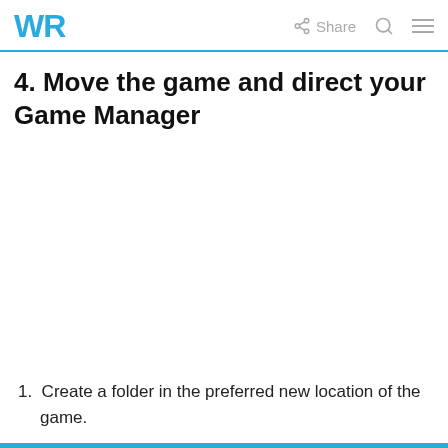WR  Share
4. Move the game and direct your Game Manager
1. Create a folder in the preferred new location of the game.